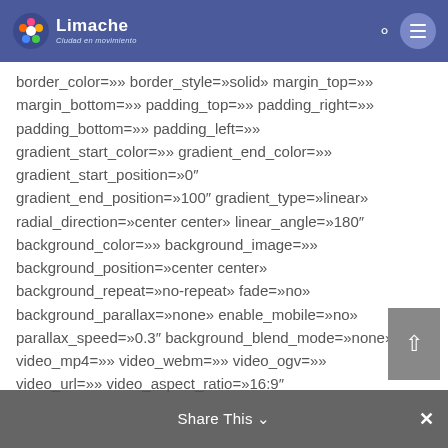Limache Ciudad en movimiento
border_color=»» border_style=»solid» margin_top=»» margin_bottom=»» padding_top=»» padding_right=»» padding_bottom=»» padding_left=»» gradient_start_color=»» gradient_end_color=»» gradient_start_position=»0″ gradient_end_position=»100″ gradient_type=»linear» radial_direction=»center center» linear_angle=»180″ background_color=»» background_image=»» background_position=»center center» background_repeat=»no-repeat» fade=»no» background_parallax=»none» enable_mobile=»no» parallax_speed=»0.3″ background_blend_mode=»none» video_mp4=»» video_webm=»» video_ogv=»» video_url=»» video_aspect_ratio=»16:9″ video_loop=»yes» video_mute=»yes» video_preview_image=»» filter_hue=»0″